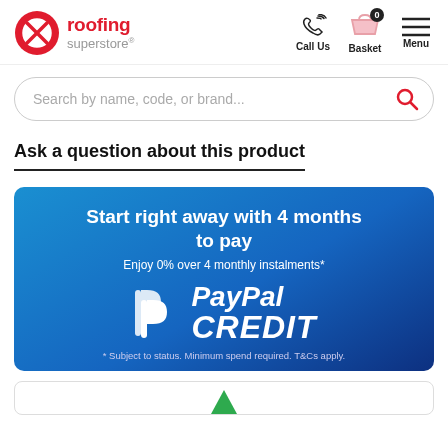roofing superstore® | Call Us | Basket | Menu
Search by name, code, or brand...
Ask a question about this product
[Figure (infographic): PayPal Credit banner: 'Start right away with 4 months to pay. Enjoy 0% over 4 monthly instalments*. PayPal CREDIT. * Subject to status. Minimum spend required. T&Cs apply.']
[Figure (other): Bottom card with green triangle/arrow partially visible]